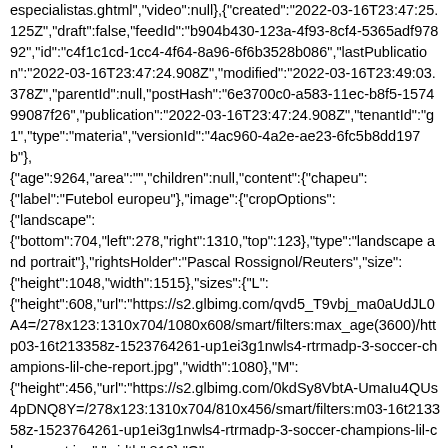especialistas.ghtml","video":null},{"created":"2022-03-16T23:47:25.125Z","draft":false,"feedId":"b904b430-123a-4f93-8cf4-5365adf97892","id":"c4f1c1cd-1cc4-4f64-8a96-6f6b3528b086","lastPublication":"2022-03-16T23:47:24.908Z","modified":"2022-03-16T23:49:03.378Z","parentId":null,"postHash":"6e3700c0-a583-11ec-b8f5-157499087f26","publication":"2022-03-16T23:47:24.908Z","tenantId":"g1","type":"materia","versionId":"4ac960-4a2e-ae23-6fc5b8dd197b"},{"age":9264,"area":"","children":null,"content":{"chapeu":{"label":"Futebol europeu"},"image":{"cropOptions":{"landscape":{"bottom":704,"left":278,"right":1310,"top":123},"type":"landscape and portrait"},"rightsHolder":"Pascal Rossignol/Reuters","size":{"height":1048,"width":1515},"sizes":{"L":{"height":608,"url":"https://s2.glbimg.com/qvd5_T9vbj_ma0aUdJL0A4=/278x123:1310x704/1080x608/smart/filters:max_age(3600)/http03-16t213358z-1523764261-up1ei3g1nwls4-rtrmadp-3-soccer-champions-lil-che-report.jpg","width":1080},"M":{"height":456,"url":"https://s2.glbimg.com/0kdSy8VbtA-UmaIu4QUs4pDNQ8Y=/278x123:1310x704/810x456/smart/filters:m03-16t213358z-1523764261-up1ei3g1nwls4-rtrmadp-3-soccer-champions-lil-che-report.jpg","width":810},"Q":{"height":94,"url":"https://s2.glbimg.com/WIwjRdSq-7tG7mNttvgvuqQVFJE=/278x123:1310x704/94x94/smart/filters:ma